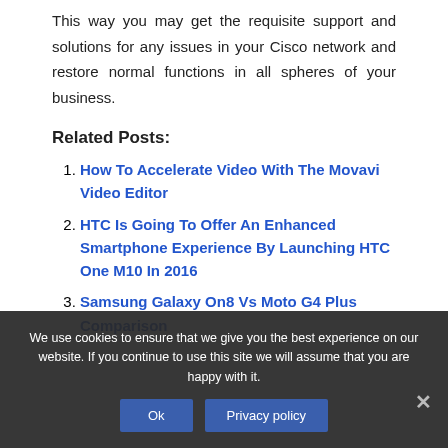This way you may get the requisite support and solutions for any issues in your Cisco network and restore normal functions in all spheres of your business.
Related Posts:
How To Accelerate Video With The Movavi Video Editor
HTC Is Going To Offer An Enhanced Smartphone Experience By Launching HTC One M10 In 2016
Samsung Galaxy On8 Vs Moto G4 Plus Comparison
We use cookies to ensure that we give you the best experience on our website. If you continue to use this site we will assume that you are happy with it.